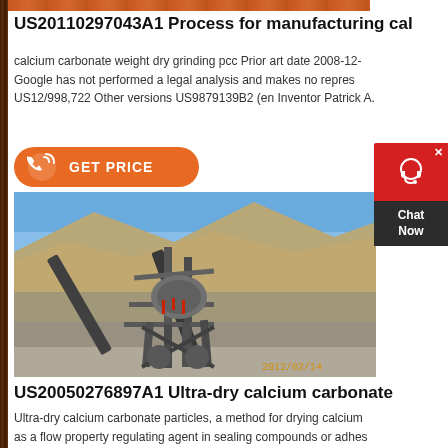[Figure (photo): Orange/brown banner image bar at top]
US20110297043A1 Process for manufacturing cal
calcium carbonate weight dry grinding pcc Prior art date 2008-12- Google has not performed a legal analysis and makes no repres US12/998,722 Other versions US9879139B2 (en Inventor Patrick A.
[Figure (infographic): Orange rounded GET PRICE button with phone icon]
[Figure (photo): Mining/quarry equipment photo showing conveyor belts and crusher machinery against a rocky hillside. Date stamp: 2012/02/14]
US20050276897A1 Ultra-dry calcium carbonate
Ultra-dry calcium carbonate particles, a method for drying calcium as a flow property regulating agent in sealing compounds or adhes The drying can take place in a continuous belt apparatus, a batch t